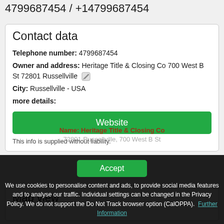4799687454 / +14799687454
Contact data
Telephone number: 4799687454
Owner and address: Heritage Title & Closing Co 700 West B St 72801 Russellville
City: Russellville - USA
more details:
Website
This info is supplied without liability.
Map view
Accept
We use cookies to personalise content and ads, to provide social media features and to analyse our traffic. Individual settings can be changed in the Privacy Policy. We do not support the Do Not Track browser option (CalOPPA). Further Information
Name: Heritage Title & Closing Co
72801 Russellville, 700 West B St